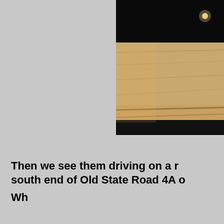[Figure (photo): Nighttime photo showing a concrete wall or barrier beside a road, taken from inside a vehicle. The background is dark sky, with a distant street light visible. The road surface is visible at the bottom of the frame.]
Then we see them driving on a r south end of Old State Road 4A o
Wh...